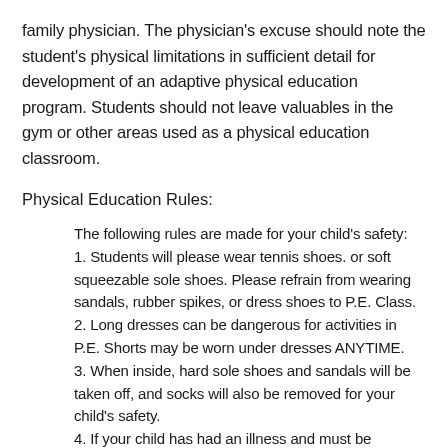family physician. The physician's excuse should note the student's physical limitations in sufficient detail for development of an adaptive physical education program. Students should not leave valuables in the gym or other areas used as a physical education classroom.
Physical Education Rules:
The following rules are made for your child's safety:
1. Students will please wear tennis shoes. or soft squeezable sole shoes. Please refrain from wearing sandals, rubber spikes, or dress shoes to P.E. Class.
2. Long dresses can be dangerous for activities in P.E. Shorts may be worn under dresses ANYTIME.
3. When inside, hard sole shoes and sandals will be taken off, and socks will also be removed for your child's safety.
4. If your child has had an illness and must be excused from P.E. Class, please send an excuse signed by a doctor or parent to the conditions...